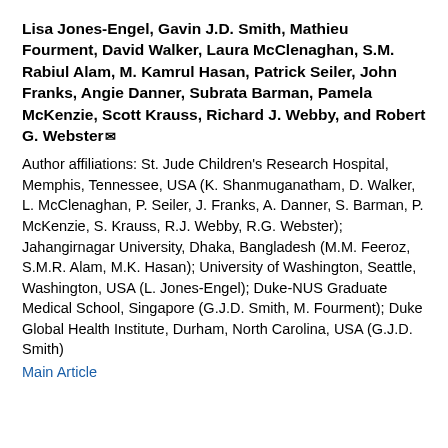Lisa Jones-Engel, Gavin J.D. Smith, Mathieu Fourment, David Walker, Laura McClenaghan, S.M. Rabiul Alam, M. Kamrul Hasan, Patrick Seiler, John Franks, Angie Danner, Subrata Barman, Pamela McKenzie, Scott Krauss, Richard J. Webby, and Robert G. Webster✉
Author affiliations: St. Jude Children's Research Hospital, Memphis, Tennessee, USA (K. Shanmuganatham, D. Walker, L. McClenaghan, P. Seiler, J. Franks, A. Danner, S. Barman, P. McKenzie, S. Krauss, R.J. Webby, R.G. Webster); Jahangirnagar University, Dhaka, Bangladesh (M.M. Feeroz, S.M.R. Alam, M.K. Hasan); University of Washington, Seattle, Washington, USA (L. Jones-Engel); Duke-NUS Graduate Medical School, Singapore (G.J.D. Smith, M. Fourment); Duke Global Health Institute, Durham, North Carolina, USA (G.J.D. Smith)
Main Article